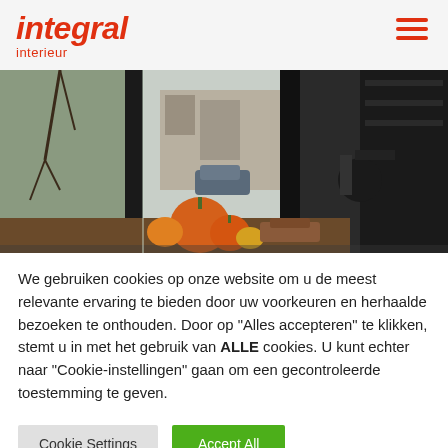integral interieur
[Figure (photo): Interior showroom photo showing a fireplace with glass, pumpkins and autumn decorations on a counter, with a street view visible through large windows and dark shelving on the right.]
We gebruiken cookies op onze website om u de meest relevante ervaring te bieden door uw voorkeuren en herhaalde bezoeken te onthouden. Door op "Alles accepteren" te klikken, stemt u in met het gebruik van ALLE cookies. U kunt echter naar "Cookie-instellingen" gaan om een gecontroleerde toestemming te geven.
Cookie Settings
Accept All